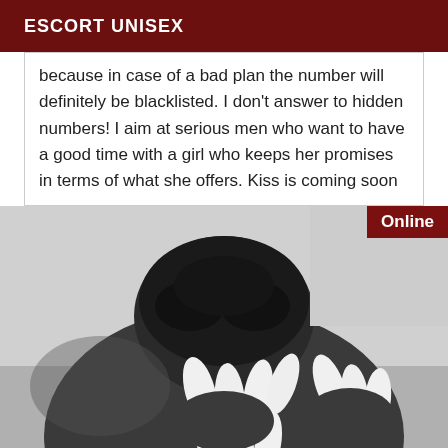ESCORT UNISEX
because in case of a bad plan the number will definitely be blacklisted. I don't answer to hidden numbers! I aim at serious men who want to have a good time with a girl who keeps her promises in terms of what she offers. Kiss is coming soon
[Figure (photo): Black and white close-up photograph of a person's head and back with an 'Online' badge in the top right corner]